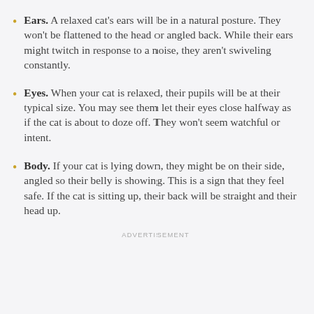Ears. A relaxed cat's ears will be in a natural posture. They won't be flattened to the head or angled back. While their ears might twitch in response to a noise, they aren't swiveling constantly.
Eyes. When your cat is relaxed, their pupils will be at their typical size. You may see them let their eyes close halfway as if the cat is about to doze off. They won't seem watchful or intent.
Body. If your cat is lying down, they might be on their side, angled so their belly is showing. This is a sign that they feel safe. If the cat is sitting up, their back will be straight and their head up.
ADVERTISEMENT